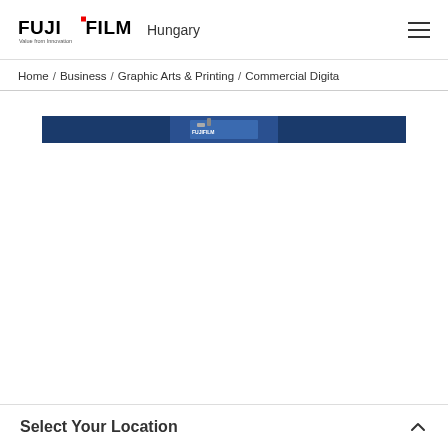FUJIFILM Value from Innovation — Hungary
Home / Business / Graphic Arts & Printing / Commercial Digita
[Figure (photo): Fujifilm commercial digital printing machine banner image — dark blue background with partial view of a Fujifilm inkjet printer in the center]
Select Your Location